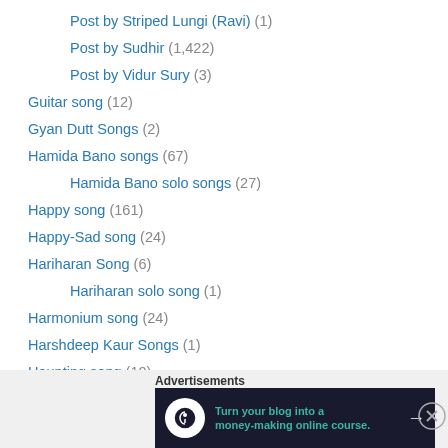Post by Striped Lungi (Ravi) (1)
Post by Sudhir (1,422)
Post by Vidur Sury (3)
Guitar song (12)
Gyan Dutt Songs (2)
Hamida Bano songs (67)
Hamida Bano solo songs (27)
Happy song (161)
Happy-Sad song (24)
Hariharan Song (6)
Hariharan solo song (1)
Harmonium song (24)
Harshdeep Kaur Songs (1)
Haunting song (10)
Headgear song (1)
Heckling song (4)
[Figure (screenshot): Advertisement banner: Turn your blog into a money-making online course.]